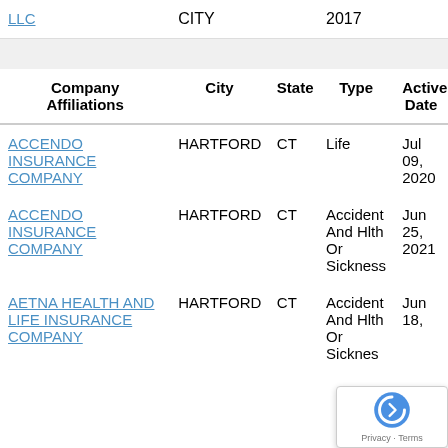| Company Affiliations | City | State | Type | Active Date |
| --- | --- | --- | --- | --- |
| LLC | CITY |  | 2017 |  |
| ACCENDO INSURANCE COMPANY | HARTFORD | CT | Life | Jul 09, 2020 |
| ACCENDO INSURANCE COMPANY | HARTFORD | CT | Accident And Hlth Or Sickness | Jun 25, 2021 |
| AETNA HEALTH AND LIFE INSURANCE COMPANY | HARTFORD | CT | Accident And Hlth Or Sickness | Jun 18, |